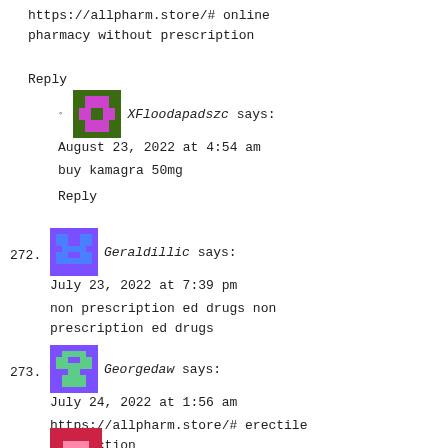https://allpharm.store/# online pharmacy without prescription
Reply
XFloodapadszc says:
August 23, 2022 at 4:54 am
buy kamagra 50mg
Reply
272. Geraldillic says: July 23, 2022 at 7:39 pm
non prescription ed drugs non prescription ed drugs
Reply
273. Georgedaw says: July 24, 2022 at 1:56 am
https://allpharm.store/# erectile dysfunction
Reply